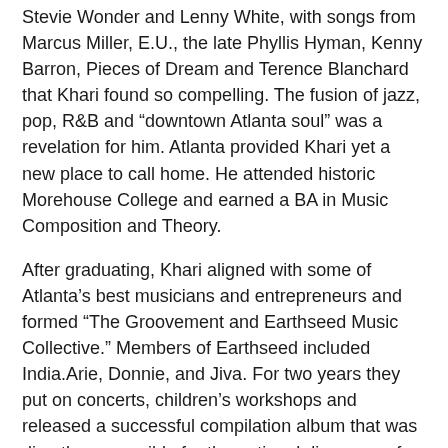Stevie Wonder and Lenny White, with songs from Marcus Miller, E.U., the late Phyllis Hyman, Kenny Barron, Pieces of Dream and Terence Blanchard that Khari found so compelling. The fusion of jazz, pop, R&B and “downtown Atlanta soul” was a revelation for him. Atlanta provided Khari yet a new place to call home. He attended historic Morehouse College and earned a BA in Music Composition and Theory.
After graduating, Khari aligned with some of Atlanta’s best musicians and entrepreneurs and formed “The Groovement and Earthseed Music Collective.” Members of Earthseed included India.Arie, Donnie, and Jiva. For two years they put on concerts, children’s workshops and released a successful compilation album that was directly responsible for the national discovery of India.Arie.
Earthseed’s compilation album proved to be a springboard for Khari as well when it caught the attention of New York tastemaker label, Giant Step Records. They signed Cabral